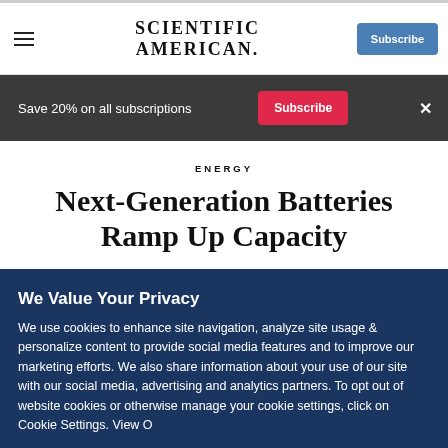SCIENTIFIC AMERICAN
Save 20% on all subscriptions
ENERGY
Next-Generation Batteries Ramp Up Capacity
We Value Your Privacy
We use cookies to enhance site navigation, analyze site usage & personalize content to provide social media features and to improve our marketing efforts. We also share information about your use of our site with our social media, advertising and analytics partners. To opt out of website cookies or otherwise manage your cookie settings, click on Cookie Settings. View O...